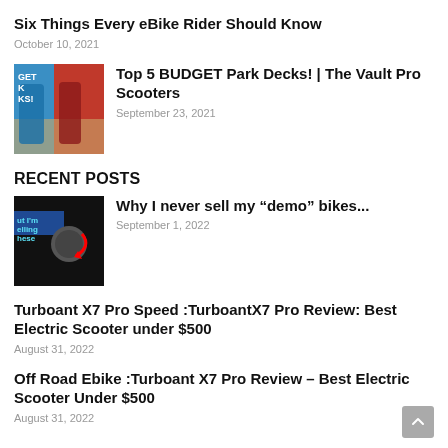Six Things Every eBike Rider Should Know
October 10, 2021
[Figure (photo): Thumbnail image of colorful scooter park decks (blue and red) with text overlay GET K KS!]
Top 5 BUDGET Park Decks! | The Vault Pro Scooters
September 23, 2021
RECENT POSTS
[Figure (photo): Thumbnail of a person with red arrow and text overlay: but I'm selling these]
Why I never sell my “demo” bikes...
September 1, 2022
Turboant X7 Pro Speed :TurboantX7 Pro Review: Best Electric Scooter under $500
August 31, 2022
Off Road Ebike :Turboant X7 Pro Review – Best Electric Scooter Under $500
August 31, 2022